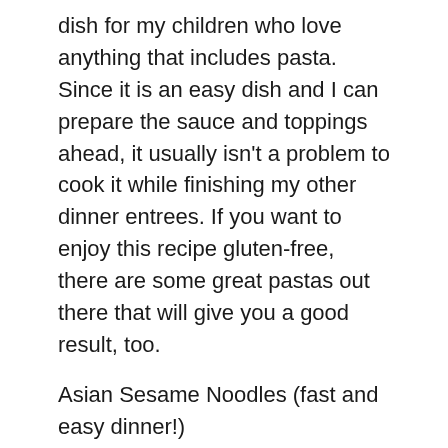dish for my children who love anything that includes pasta. Since it is an easy dish and I can prepare the sauce and toppings ahead, it usually isn't a problem to cook it while finishing my other dinner entrees. If you want to enjoy this recipe gluten-free, there are some great pastas out there that will give you a good result, too.
Asian Sesame Noodles (fast and easy dinner!)
1 pound linguine or angel hair pasta
1/4 cup soy sauce
2 tablespoons rice vinegar
1 tablespoon brown sugar
1 tablespoon freshly grated ginger
4 peeled cloves of garlic, smashed and finely chopped
Sriracha sauce to taste
4 tablespoon olive oil
½ teaspoon salt
Toasted sesame oil to taste
2 teaspoons toasted sesame seeds